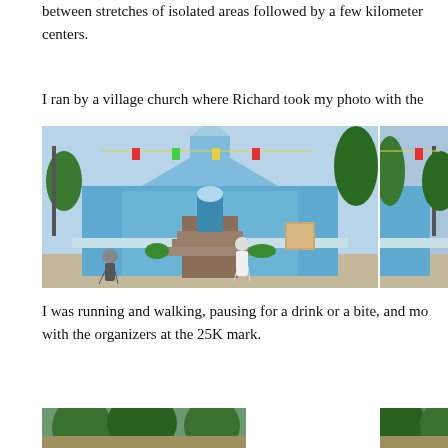between stretches of isolated areas followed by a few kilometers of centers.
I ran by a village church where Richard took my photo with the
[Figure (photo): A blue-painted village church with stairs leading to the entrance, colorful decorations and banners, green trees in background, a person in dark clothing walking past on the left, and a person in white clothing near the entrance on the right.]
[Figure (photo): Partial right side of the same blue village church, cropped.]
I was running and walking, pausing for a drink or a bite, and mo with the organizers at the 25K mark.
[Figure (photo): Bottom partial photo showing palm trees and tropical vegetation.]
[Figure (photo): Bottom right partial photo cropped.]